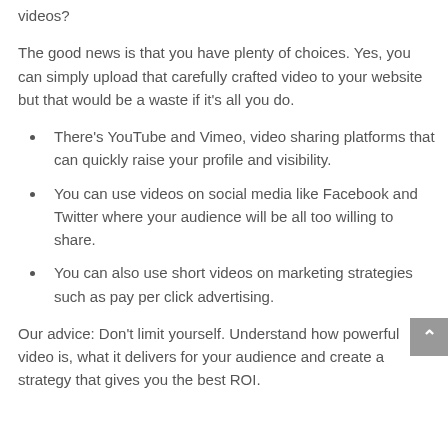videos?
The good news is that you have plenty of choices. Yes, you can simply upload that carefully crafted video to your website but that would be a waste if it’s all you do.
There’s YouTube and Vimeo, video sharing platforms that can quickly raise your profile and visibility.
You can use videos on social media like Facebook and Twitter where your audience will be all too willing to share.
You can also use short videos on marketing strategies such as pay per click advertising.
Our advice: Don’t limit yourself. Understand how powerful video is, what it delivers for your audience and create a strategy that gives you the best ROI.